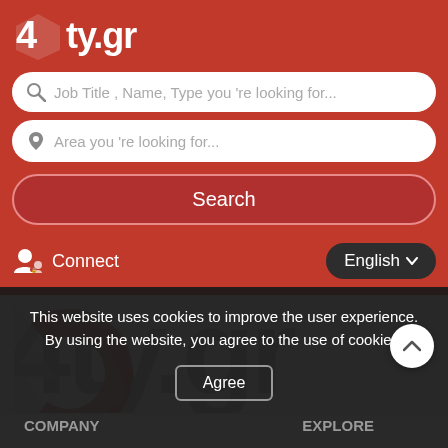[Figure (screenshot): 4ty.gr job search website screenshot showing logo, search fields, search button, connect and language options, watermark logo, and cookie consent overlay]
Job Title , Name, Type you 're looking for...
Area you 're looking for...
Search
Connect
English
This website uses cookies to improve the user experience. By using the website, you agree to the use of cookies.
Agree
COMPANY
EXPLORE